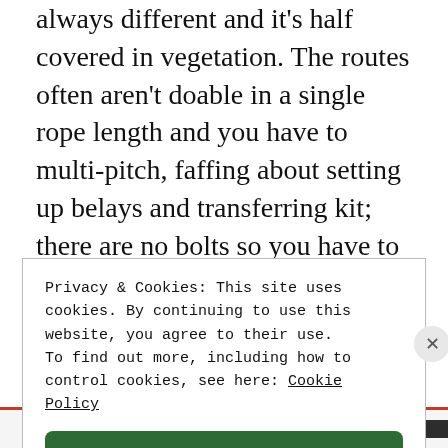always different and it's half covered in vegetation. The routes often aren't doable in a single rope length and you have to multi-pitch, faffing about setting up belays and transferring kit; there are no bolts so you have to place your own gear; there are tricky descents, night-fall approaches.... It all seems quite enough without having to deal with the WEATHER too. Going out in inclement weather simply does not compute for one brought up on the
Privacy & Cookies: This site uses cookies. By continuing to use this website, you agree to their use.
To find out more, including how to control cookies, see here: Cookie Policy
Close and accept